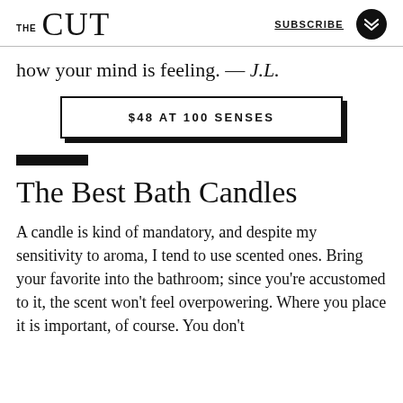THE CUT  SUBSCRIBE
how your mind is feeling. — J.L.
$48 AT 100 SENSES
The Best Bath Candles
A candle is kind of mandatory, and despite my sensitivity to aroma, I tend to use scented ones. Bring your favorite into the bathroom; since you're accustomed to it, the scent won't feel overpowering. Where you place it is important, of course. You don't want to set fire to the curtains (always an issue).